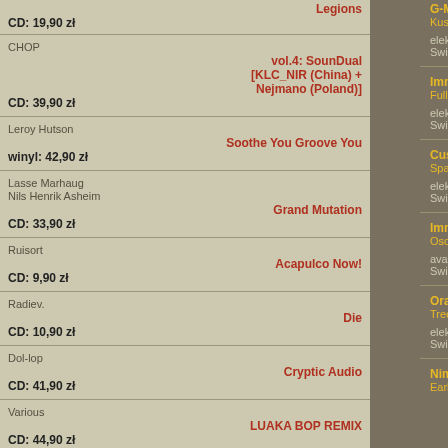Legions
CD: 19,90 zł
CHOP
vol.4: SounDual [KLC_NIR (China) + Nejmano (Poland)]
CD: 39,90 zł
Leroy Hutson
Soothe You Groove You
winyl: 42,90 zł
Lasse Marhaug
Nils Henrik Asheim
Grand Mutation
CD: 33,90 zł
Ruisort
Acapulco Now!
CD: 9,90 zł
Radiev.
Die
CD: 10,90 zł
Dol-lop
Cryptic Audio
CD: 41,90 zł
Various
LUAKA BOP REMIX
CD: 44,90 zł
Jean Michel Jarre
Destination Docklands
G-Man
Kushti
elektronika
Swim , 1996
Immersion
Full Immersion. The Remixes
elektronika
Swim , 1995
Cusp
Space + Time * Liquids + Met...
elektronika
Swim , 1995
Immersion
Oscillating
avant-pop / elektronika
Swim , 1994
Oracle
Tree
elektronika
Swim , 1994
Nimh
Early Electronic Works – Cau...